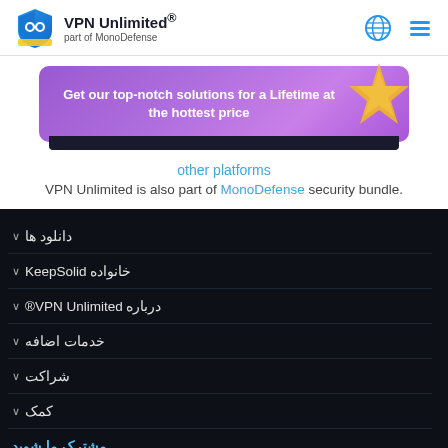[Figure (logo): VPN Unlimited logo with shield icon, text 'VPN Unlimited® part of MonoDefense']
[Figure (infographic): Purple banner with text 'Get our top-notch solutions for a Lifetime at the hottest price' with a starfish decoration]
other platforms
VPN Unlimited is also part of MonoDefense security bundle.
دانلود ها ∨
KeepSolid خانواده ∨
VPN Unlimited® درباره ∨
خدمات اضافه ∨
شراکت ∨
کمک ∨
مشترک ما شوید